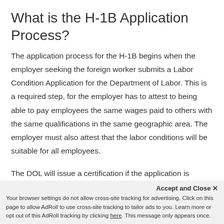What is the H-1B Application Process?
The application process for the H-1B begins when the employer seeking the foreign worker submits a Labor Condition Application for the Department of Labor. This is a required step, for the employer has to attest to being able to pay employees the same wages paid to others with the same qualifications in the same geographic area. The employer must also attest that the labor conditions will be suitable for all employees.
The DOL will issue a certification if the application is approved. After LCA certification, the employer will file
Accept and Close ×
Your browser settings do not allow cross-site tracking for advertising. Click on this page to allow AdRoll to use cross-site tracking to tailor ads to you. Learn more or opt out of this AdRoll tracking by clicking here. This message only appears once.